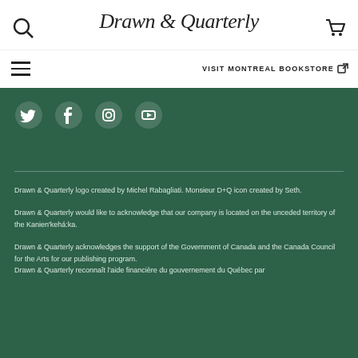Drawn & Quarterly
VISIT MONTREAL BOOKSTORE
[Figure (infographic): Social media icons: Twitter, Facebook, Instagram, YouTube on dark green background]
Drawn & Quarterly logo created by Michel Rabagliati. Monsieur D+Q icon created by Seth.
Drawn & Quarterly would like to acknowledge that our company is located on the unceded territory of the Kanien'kehá:ka.
Drawn & Quarterly acknowledges the support of the Government of Canada and the Canada Council for the Arts for our publishing program.
Drawn & Quarterly reconnaît l'aide financière du gouvernement du Québec par